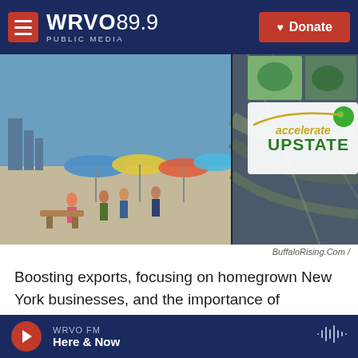WRVO PUBLIC MEDIA 89.9 | Donate
[Figure (photo): Collage of outdoor scenes and an 'accelerate UPSTATE' logo with green sphere. Left side shows an outdoor market/festival with people under colorful umbrellas and city skyline. Right side shows aerial view of construction/infrastructure. Top right shows cycling and river scenes.]
BuffaloRising.Com /
Boosting exports, focusing on homegrown New York businesses, and the importance of engaging with Generation Y. These were all topics of focus at the Accelerate Upstate 2.0 conference in Buffalo
WRVO FM | Here & Now